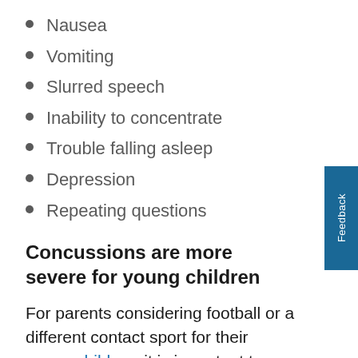Nausea
Vomiting
Slurred speech
Inability to concentrate
Trouble falling asleep
Depression
Repeating questions
Concussions are more severe for young children
For parents considering football or a different contact sport for their young children, it is important to remember that concussions in